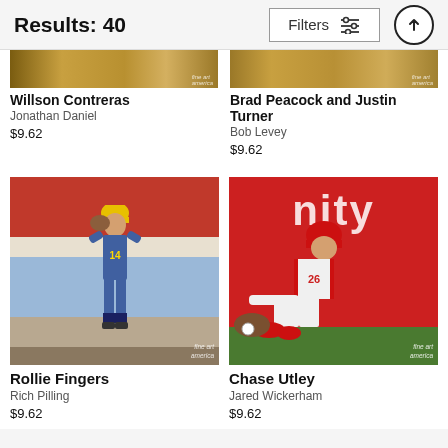Results: 40
Filters
[Figure (photo): Cropped photo of Willson Contreras baseball bat/item]
Willson Contreras
Jonathan Daniel
$9.62
[Figure (photo): Cropped photo of Brad Peacock and Justin Turner baseball bat/item]
Brad Peacock and Justin Turner
Bob Levey
$9.62
[Figure (photo): Photo of Rollie Fingers baseball player in Milwaukee Brewers uniform catching a ball]
Rollie Fingers
Rich Pilling
$9.62
[Figure (photo): Photo of Chase Utley #26 Philadelphia Phillies player sliding on the field]
Chase Utley
Jared Wickerham
$9.62